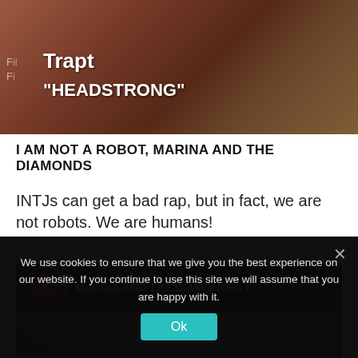[Figure (screenshot): Music video thumbnail for Trapt 'Headstrong' - dark brownish background with text overlay showing band name and song title in white bold text]
I AM NOT A ROBOT, MARINA AND THE DIAMONDS
INTJs can get a bad rap, but in fact, we are not robots. We are humans!
[Figure (screenshot): YouTube video thumbnail for Marina and the Diamonds - I ... showing a woman with dramatic glittery eye makeup close-up, with video bar overlay at top showing avatar and truncated title 'MARINA AND THE DIAMONDS - I ...']
We use cookies to ensure that we give you the best experience on our website. If you continue to use this site we will assume that you are happy with it.